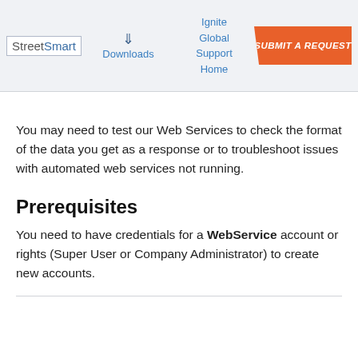StreetSmart | Downloads | Ignite Global Support Home | SUBMIT A REQUEST
You may need to test our Web Services to check the format of the data you get as a response or to troubleshoot issues with automated web services not running.
Prerequisites
You need to have credentials for a WebService account or rights (Super User or Company Administrator) to create new accounts.